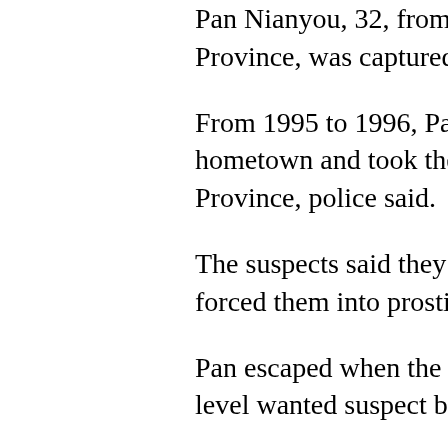Pan Nianyou, 32, from Sansui County in Province, was captured in Dongtai City i
From 1995 to 1996, Pan and several oth hometown and took them to Xuwen Cou Province, police said.
The suspects said they would provide w forced them into prostitution.
Pan escaped when the crime ring was b level wanted suspect by the ministry on A
Pan confessed to the crimes during inter
In late June, police launched a nationwid prostitution ahead of National Day targe force, tempt, permit or introduce women
About 3,000 child and women abduction investigated by authorities annually.
In another case, police in central China's announced a reward of 50,000 yuan (US suspect who allegedly killed six people o year-old boy and five women in a beauty of Changsha.